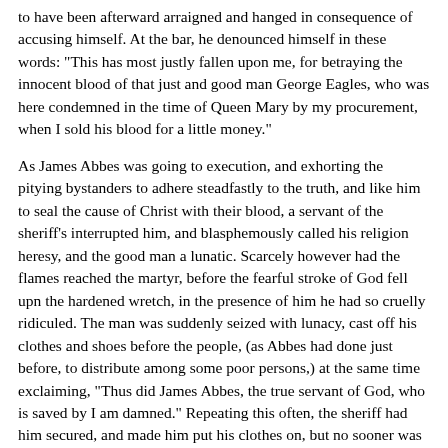to have been afterward arraigned and hanged in consequence of accusing himself. At the bar, he denounced himself in these words: "This has most justly fallen upon me, for betraying the innocent blood of that just and good man George Eagles, who was here condemned in the time of Queen Mary by my procurement, when I sold his blood for a little money."
As James Abbes was going to execution, and exhorting the pitying bystanders to adhere steadfastly to the truth, and like him to seal the cause of Christ with their blood, a servant of the sheriff's interrupted him, and blasphemously called his religion heresy, and the good man a lunatic. Scarcely however had the flames reached the martyr, before the fearful stroke of God fell upn the hardened wretch, in the presence of him he had so cruelly ridiculed. The man was suddenly seized with lunacy, cast off his clothes and shoes before the people, (as Abbes had done just before, to distribute among some poor persons,) at the same time exclaiming, "Thus did James Abbes, the true servant of God, who is saved by I am damned." Repeating this often, the sheriff had him secured, and made him put his clothes on, but no sooner was he alone, than he tore them off, and exclaimed as before. Being tied in a cart, he was conveyed to his master's house, and in about half a year he died; just before which a priest came to attend him, with the crucifix, etc., but the wretched man bade him take away such trumpery, and said that he and other priests had been the cause of his damnation,